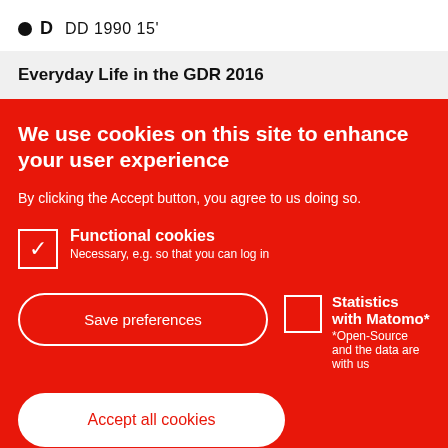● D  DD 1990 15'
Everyday Life in the GDR 2016
We use cookies on this site to enhance your user experience
By clicking the Accept button, you agree to us doing so.
Functional cookies
Necessary, e.g. so that you can log in
Statistics with Matomo*
*Open-Source and the data are with us
Save preferences
Accept all cookies